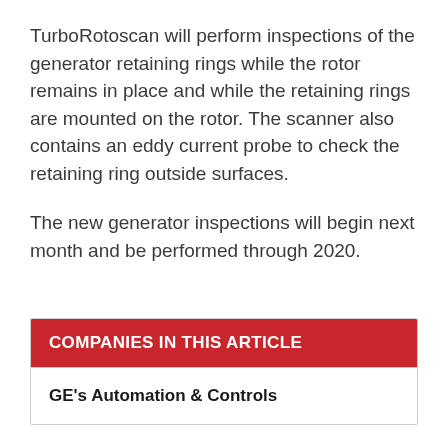TurboRotoscan will perform inspections of the generator retaining rings while the rotor remains in place and while the retaining rings are mounted on the rotor. The scanner also contains an eddy current probe to check the retaining ring outside surfaces.

The new generator inspections will begin next month and be performed through 2020.
COMPANIES IN THIS ARTICLE
GE's Automation & Controls